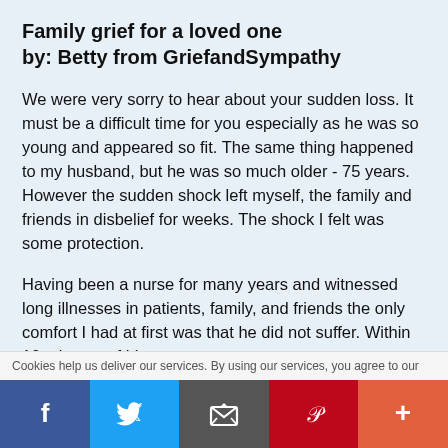Family grief for a loved one
by: Betty from GriefandSympathy
We were very sorry to hear about your sudden loss. It must be a difficult time for you especially as he was so young and appeared so fit. The same thing happened to my husband, but he was so much older - 75 years. However the sudden shock left myself, the family and friends in disbelief for weeks. The shock I felt was some protection.
Having been a nurse for many years and witnessed long illnesses in patients, family, and friends the only comfort I had at first was that he did not suffer. Within 10 minutes of him
Cookies help us deliver our services. By using our services, you agree to our